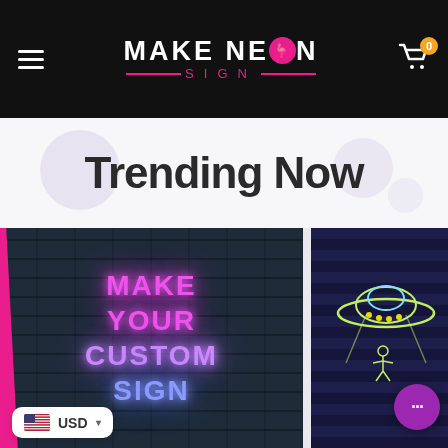Make Neon Sign — navigation bar with hamburger menu, logo, and cart icon showing 0 items
Trending Now
[Figure (photo): Left product card showing a neon sign on a dark brick wall background reading MAKE YOUR CUSTOM SIGN in pink, purple, and blue neon glow colors]
[Figure (photo): Right product card showing a neon UFO illustration on a dark striped background with purple chat button overlay]
USD — Currency selector with US flag in bottom left corner